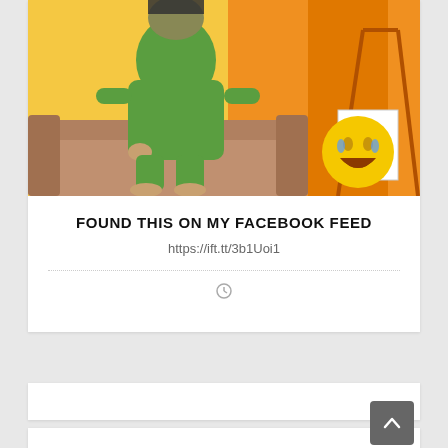[Figure (illustration): Cartoon illustration of a person in a green hoodie sitting on a couch, with an orange background and a laughing emoji overlay in the bottom right]
FOUND THIS ON MY FACEBOOK FEED
https://ift.tt/3b1Uoi1
[Figure (other): Clock/time icon]
I JUST HAD A NEAR SEX EXPERIENCE.
My wife flashed before my eyes.